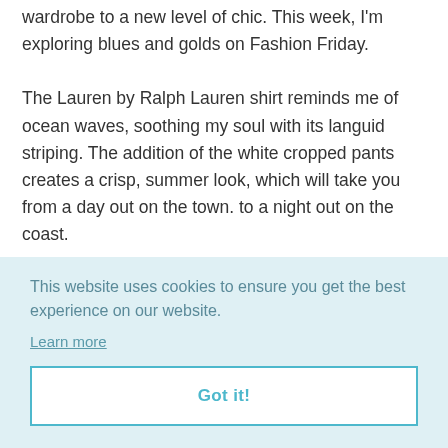wardrobe to a new level of chic. This week, I'm exploring blues and golds on Fashion Friday.

The Lauren by Ralph Lauren shirt reminds me of ocean waves, soothing my soul with its languid striping. The addition of the white cropped pants creates a crisp, summer look, which will take you from a day out on the town. to a night out on the coast.
s a
This website uses cookies to ensure you get the best experience on our website.
Learn more
Got it!